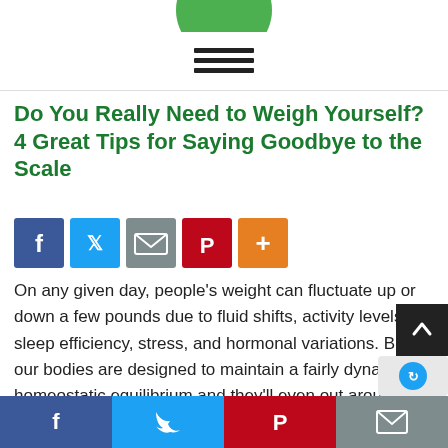[Figure (logo): Partial green circular logo at top center]
[Figure (other): Hamburger menu icon (three horizontal lines)]
Do You Really Need to Weigh Yourself? 4 Great Tips for Saying Goodbye to the Scale
[Figure (other): Social share buttons row: Facebook (blue), Twitter (light blue), Email (gray), Pinterest (red), Plus (orange)]
On any given day, people’s weight can fluctuate up or down a few pounds due to fluid shifts, activity levels, sleep efficiency, stress, and hormonal variations. But our bodies are designed to maintain a fairly dynamic homeostatic equilibrium and they’ll even out around a set point. Yet if we weigh ourselves regularly, we may use the number on the scale to dicta…
[Figure (other): Bottom sticky share bar: Facebook (blue), Twitter (light blue), Pinterest (red), Email (gray)]